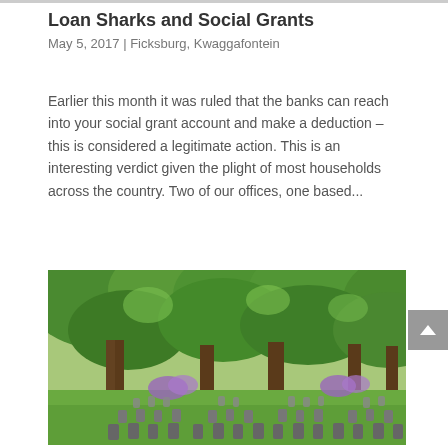Loan Sharks and Social Grants
May 5, 2017  |  Ficksburg, Kwaggafontein
Earlier this month it was ruled that the banks can reach into your social grant account and make a deduction – this is considered a legitimate action. This is an interesting verdict given the plight of most households across the country. Two of our offices, one based...
[Figure (photo): A cemetery with rows of gravestones on green grass, surrounded by large trees with full green canopies and purple flowering bushes in the background.]